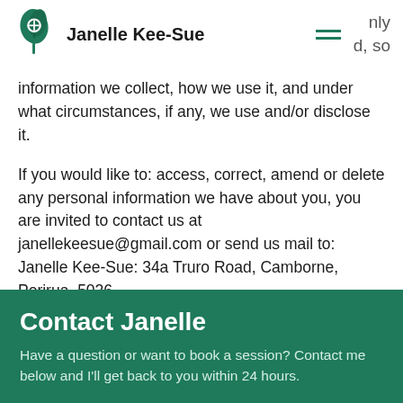Janelle Kee-Sue
information we collect, how we use it, and under what circumstances, if any, we use and/or disclose it.
If you would like to: access, correct, amend or delete any personal information we have about you, you are invited to contact us at janellekeesue@gmail.com or send us mail to: Janelle Kee-Sue: 34a Truro Road, Camborne, Porirua, 5026
Contact Janelle
Have a question or want to book a session? Contact me below and I'll get back to you within 24 hours.